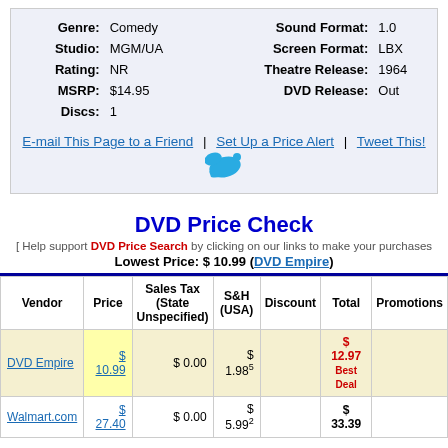| Genre | Comedy | Sound Format | 1.0 |
| --- | --- | --- | --- |
| Studio: | MGM/UA | Screen Format: | LBX |
| Rating: | NR | Theatre Release: | 1964 |
| MSRP: | $14.95 | DVD Release: | Out |
| Discs: | 1 |  |  |
E-mail This Page to a Friend | Set Up a Price Alert | Tweet This!
DVD Price Check
[ Help support DVD Price Search by clicking on our links to make your purchases
Lowest Price: $ 10.99 (DVD Empire)
| Vendor | Price | Sales Tax (State Unspecified) | S&H (USA) | Discount | Total | Promotions |
| --- | --- | --- | --- | --- | --- | --- |
| DVD Empire | $ 10.99 | $ 0.00 | $ 1.985 |  | $ 12.97 Best Deal |  |
| Walmart.com | $ 27.40 | $ 0.00 | $ 5.992 |  | $ 33.39 |  |